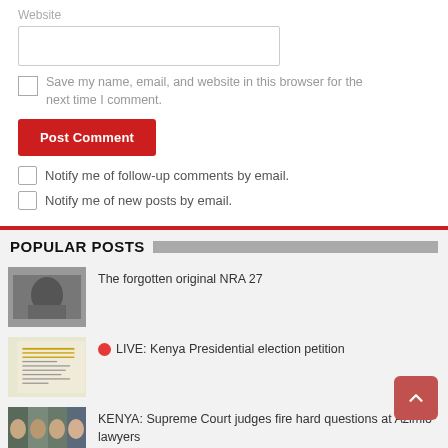Website
Save my name, email, and website in this browser for the next time I comment.
Post Comment
Notify me of follow-up comments by email.
Notify me of new posts by email.
POPULAR POSTS
The forgotten original NRA 27
LIVE: Kenya Presidential election petition
KENYA: Supreme Court judges fire hard questions at Azimio lawyers
UNEB releases 2022 examinations timetable